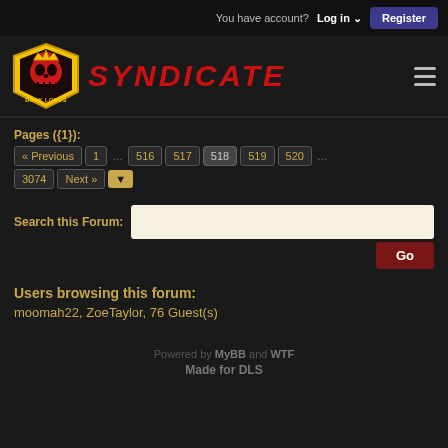You have account? Log in ∨  Register
[Figure (logo): Dark Lords Syndicate logo with red demon skull in yellow shield and red SYNDICATE text]
Pages ({1}): « Previous 1 … 516 517 518 519 520 … 3074 Next » ▼
Search this Forum: Go
Users browsing this forum:
moomah22, ZoeTaylor, 76 Guest(s)
Powered by MyBB and WTF
Made for DLS